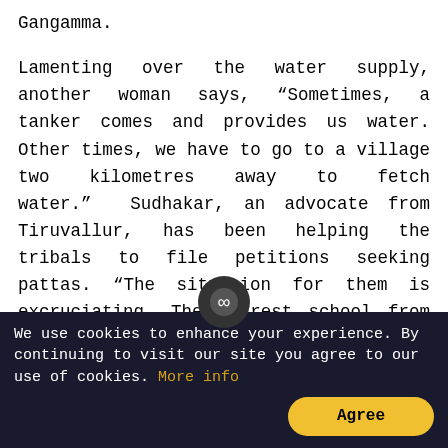Gangamma.
Lamenting over the water supply, another woman says, “Sometimes, a tanker comes and provides us water. Other times, we have to go to a village two kilometres away to fetch water.”  Sudhakar, an advocate from Tiruvallur, has been helping the tribals to file petitions seeking pattas. “The situation for them is excruciating. The nearest school from the hamlet is six kilometres away.
So, nobody goes to school,” he said. Many teenage girls in the hamlet were found tending to their babies.
Narasimhan, a social activi…
We use cookies to enhance your experience. By continuing to visit our site you agree to our use of cookies. More info